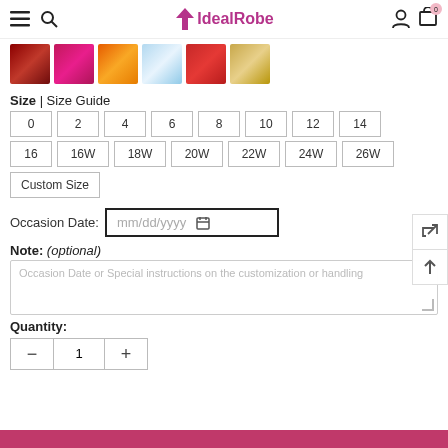IdealRobe — navigation bar with hamburger menu, search, logo, user icon, cart (0)
[Figure (photo): Color swatch thumbnails: dark red, magenta/pink, orange, light blue/white, crimson/red, golden/blonde]
Size | Size Guide
Size buttons: 0, 2, 4, 6, 8, 10, 12, 14, 16, 16W, 18W, 20W, 22W, 24W, 26W, Custom Size
Occasion Date: mm/dd/yyyy
Note: (optional)
Occasion Date or Special instructions on the customization or handling
Quantity:
- 1 +